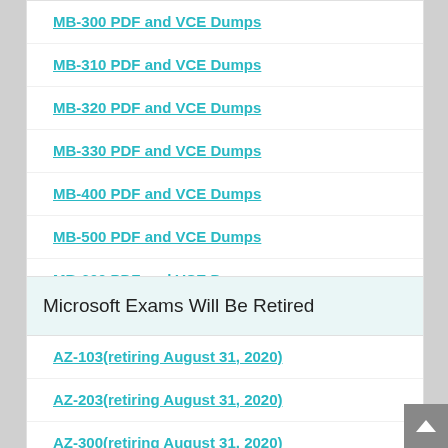MB-300 PDF and VCE Dumps
MB-310 PDF and VCE Dumps
MB-320 PDF and VCE Dumps
MB-330 PDF and VCE Dumps
MB-400 PDF and VCE Dumps
MB-500 PDF and VCE Dumps
MB-600 PDF and VCE Dumps
MB-700 PDF and VCE Dumps
MB-901 PDF and VCE Dumps
Microsoft Exams Will Be Retired
AZ-103(retiring August 31, 2020)
AZ-203(retiring August 31, 2020)
AZ-300(retiring August 31, 2020)
AZ-301(retiring August 31, 2020)
77-419(retiring June 30, 2020)